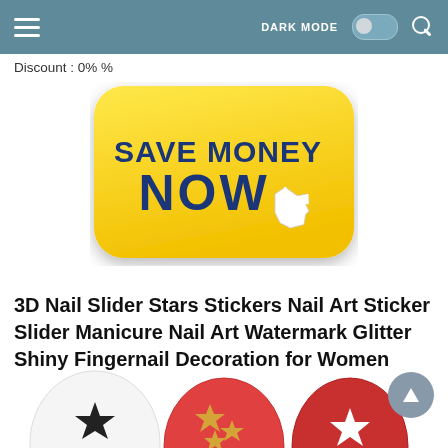DARK MODE [toggle] [search]
Discount : 0% %
[Figure (illustration): Yellow rounded rectangle button with dark blue bold text reading 'SAVE MONEY NOW' and a white cursor/hand icon in the lower right]
3D Nail Slider Stars Stickers Nail Art Sticker Slider Manicure Nail Art Watermark Glitter Shiny Fingernail Decoration for Women
[Figure (photo): Partial photo of nail art showing white, red and pink nails decorated with star stickers at bottom of page]